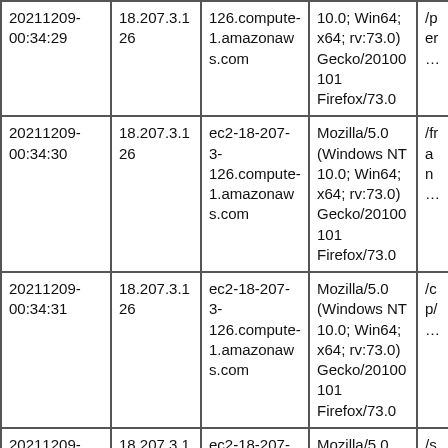| Timestamp | IP | Host | User-Agent | Path |
| --- | --- | --- | --- | --- |
| 20211209-00:34:29 | 18.207.3.126 | 126.compute-1.amazonaws.com | 10.0; Win64; x64; rv:73.0) Gecko/20100101 Firefox/73.0 | /per… |
| 20211209-00:34:30 | 18.207.3.126 | ec2-18-207-3-126.compute-1.amazonaws.com | Mozilla/5.0 (Windows NT 10.0; Win64; x64; rv:73.0) Gecko/20100101 Firefox/73.0 | /fran… |
| 20211209-00:34:31 | 18.207.3.126 | ec2-18-207-3-126.compute-1.amazonaws.com | Mozilla/5.0 (Windows NT 10.0; Win64; x64; rv:73.0) Gecko/20100101 Firefox/73.0 | /cp/… |
| 20211209-00:34:32 | 18.207.3.126 | ec2-18-207-3-126.compute-1.amazonaws.com | Mozilla/5.0 (Windows NT 10.0; Win64; x64; rv:73.0) Gecko/20100101 Firefox/73.0 | /sha… |
|  |  | ec2-18-207-3- | Mozilla/5.0 (Windows NT |  |